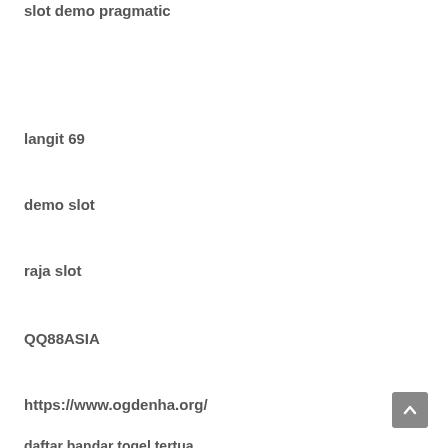slot demo pragmatic
langit 69
demo slot
raja slot
QQ88ASIA
https://www.ogdenha.org/
daftar bandar togel tertua
agen toto togel